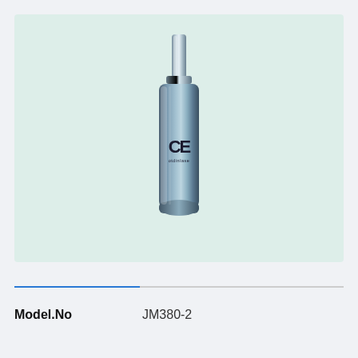[Figure (photo): A cylindrical cosmetic bottle/serum dispenser with a chrome/silver metallic finish. The bottle has a pump top with a silver cap, a metallic body, and a logo on the front showing stylized letters that resemble 'CE' or similar branding with small text beneath it. The bottle sits on a light teal/mint colored background.]
Model.No    JM380-2